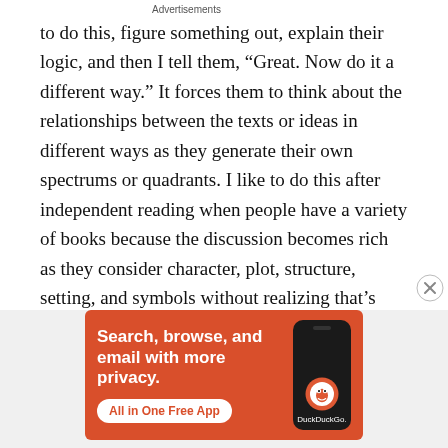to do this, figure something out, explain their logic, and then I tell them, “Great. Now do it a different way.” It forces them to think about the relationships between the texts or ideas in different ways as they generate their own spectrums or quadrants. I like to do this after independent reading when people have a variety of books because the discussion becomes rich as they consider character, plot, structure, setting, and symbols without realizing that’s what they’re doing. When sorting quotes, it’s a good segway into thinking about the structure of an essay (considering the quotes like
Advertisements
[Figure (other): DuckDuckGo advertisement banner with orange background. Text reads: 'Search, browse, and email with more privacy. All in One Free App'. Shows a smartphone with DuckDuckGo logo.]